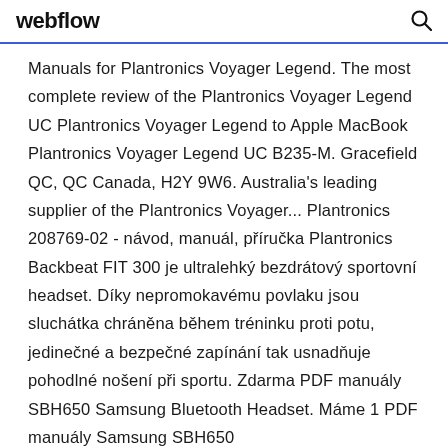webflow
Manuals for Plantronics Voyager Legend. The most complete review of the Plantronics Voyager Legend UC Plantronics Voyager Legend to Apple MacBook Plantronics Voyager Legend UC B235-M. Gracefield QC, QC Canada, H2Y 9W6. Australia's leading supplier of the Plantronics Voyager... Plantronics 208769-02 - návod, manuál, příručka Plantronics Backbeat FIT 300 je ultralehký bezdrátový sportovní headset. Díky nepromokavému povlaku jsou sluchátka chráněna během tréninku proti potu, jedinečné a bezpečné zapínání tak usnadňuje pohodlné nošení při sportu. Zdarma PDF manuály SBH650 Samsung Bluetooth Headset. Máme 1 PDF manuály Samsung SBH650